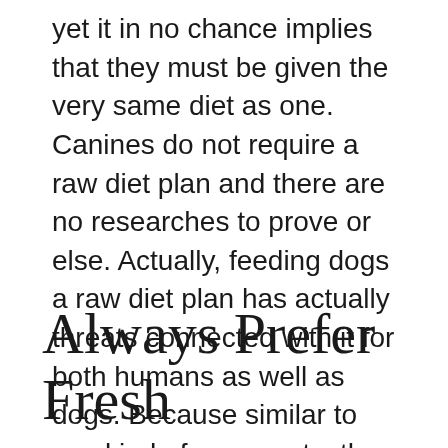yet it in no chance implies that they must be given the very same diet as one. Canines do not require a raw diet plan and there are no researches to prove or else. Actually, feeding dogs a raw diet plan has actually threats connected with it for both humans as well as dogs. Because similar to any kind of raw meats, the raw diet plan we feed to pet dogs also carries pathogens that can create gastrointestinal disorder.
Always Prefer Fresh